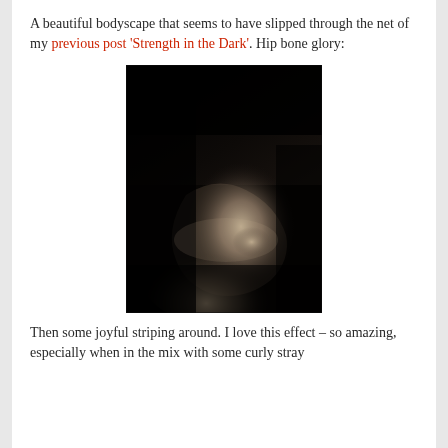A beautiful bodyscape that seems to have slipped through the net of my previous post 'Strength in the Dark'. Hip bone glory:
[Figure (photo): A dark, moody black and white fine art bodyscape photograph showing the curves and contours of a human hip bone and torso against a near-black background. The skin is lit softly revealing sculptural body forms.]
Then some joyful striping around. I love this effect – so amazing, especially when in the mix with some curly stray